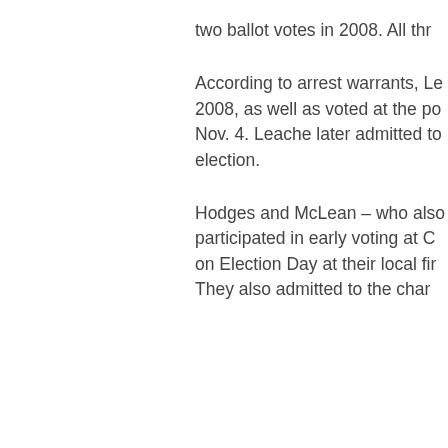two ballot votes in 2008. All thr
According to arrest warrants, Le 2008, as well as voted at the po Nov. 4. Leache later admitted to election.
Hodges and McLean – who also participated in early voting at C on Election Day at their local fir They also admitted to the char